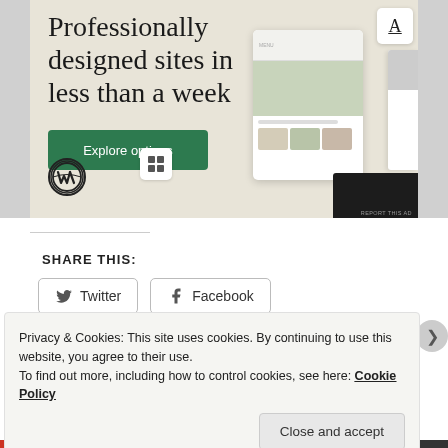[Figure (screenshot): WordPress.com advertisement banner showing 'Professionally designed sites in less than a week' with a green 'Explore options' button, WordPress logo, and mockup screens of website designs on a beige background]
REPORT THIS AD
SHARE THIS:
Twitter
Facebook
Privacy & Cookies: This site uses cookies. By continuing to use this website, you agree to their use.
To find out more, including how to control cookies, see here: Cookie Policy
Close and accept